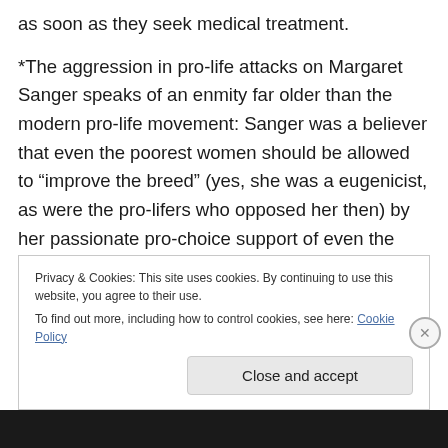as soon as they seek medical treatment.
*The aggression in pro-life attacks on Margaret Sanger speaks of an enmity far older than the modern pro-life movement: Sanger was a believer that even the poorest women should be allowed to “improve the breed” (yes, she was a eugenicist, as were the pro-lifers who opposed her then) by her passionate pro-choice support of even the poorest woman’s right to decide how many children to have, rather than – as in her day – being forced by denial of contraception and denial of the right to refuse their
Privacy & Cookies: This site uses cookies. By continuing to use this website, you agree to their use.
To find out more, including how to control cookies, see here: Cookie Policy